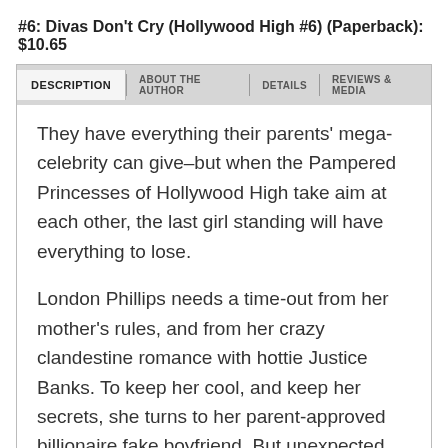#6: Divas Don't Cry (Hollywood High #6) (Paperback): $10.65
DESCRIPTION | ABOUT THE AUTHOR | DETAILS | REVIEWS & MEDIA
They have everything their parents' mega-celebrity can give–but when the Pampered Princesses of Hollywood High take aim at each other, the last girl standing will have everything to lose.
London Phillips needs a time-out from her mother's rules, and from her crazy clandestine romance with hottie Justice Banks. To keep her cool, and keep her secrets, she turns to her parent-approved billionaire fake boyfriend. But unexpected romantic sparks ignite a firestorm of their own...